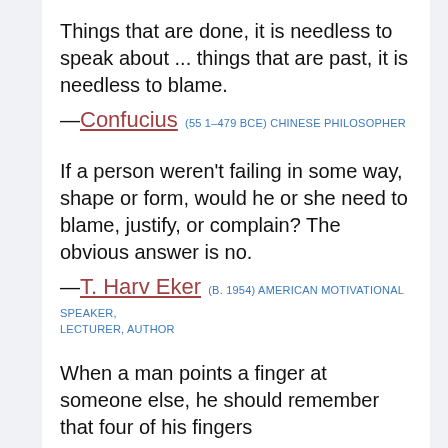Things that are done, it is needless to speak about ... things that are past, it is needless to blame.
—Confucius (551–479 BCE) CHINESE PHILOSOPHER
If a person weren't failing in some way, shape or form, would he or she need to blame, justify, or complain? The obvious answer is no.
—T. Harv Eker (B. 1954) AMERICAN MOTIVATIONAL SPEAKER, LECTURER, AUTHOR
When a man points a finger at someone else, he should remember that four of his fingers